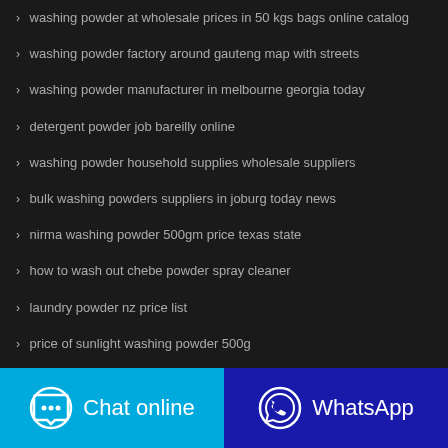> washing powder at wholesale prices in 50 kgs bags online catalog
> washing powder factory around gauteng map with streets
> washing powder manufacturer in melbourne georgia today
> detergent powder job bareilly online
> washing powder household supplies wholesale suppliers
> bulk washing powders suppliers in joburg today news
> nirma washing powder 500gm price texas state
> how to wash out chebe powder spray cleaner
> laundry powder nz price list
> price of sunlight washing powder 500g
RANDOM POSTS
Chat online | WhatsApp